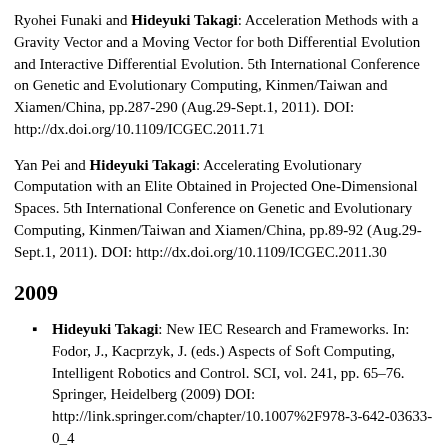Ryohei Funaki and Hideyuki Takagi: Acceleration Methods with a Gravity Vector and a Moving Vector for both Differential Evolution and Interactive Differential Evolution. 5th International Conference on Genetic and Evolutionary Computing, Kinmen/Taiwan and Xiamen/China, pp.287-290 (Aug.29-Sept.1, 2011). DOI: http://dx.doi.org/10.1109/ICGEC.2011.71
Yan Pei and Hideyuki Takagi: Accelerating Evolutionary Computation with an Elite Obtained in Projected One-Dimensional Spaces. 5th International Conference on Genetic and Evolutionary Computing, Kinmen/Taiwan and Xiamen/China, pp.89-92 (Aug.29-Sept.1, 2011). DOI: http://dx.doi.org/10.1109/ICGEC.2011.30
2009
Hideyuki Takagi: New IEC Research and Frameworks. In: Fodor, J., Kacprzyk, J. (eds.) Aspects of Soft Computing, Intelligent Robotics and Control. SCI, vol. 241, pp. 65–76. Springer, Heidelberg (2009) DOI: http://link.springer.com/chapter/10.1007%2F978-3-642-03633-0_4
Hideyuki Takagi: New Frameworks of Interactive Evolutionary Computation. The 5th International Conference